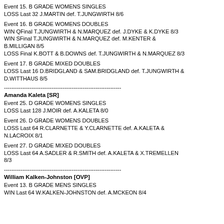Event 15. B GRADE WOMENS SINGLES
LOSS Last 32 J.MARTIN def. T.JUNGWIRTH 8/6
Event 16. B GRADE WOMENS DOUBLES
WIN QFinal T.JUNGWIRTH & N.MARQUEZ def. J.DYKE & K.DYKE 8/3
WIN SFinal T.JUNGWIRTH & N.MARQUEZ def. M.KENTER & B.MILLIGAN 8/5
LOSS Final K.BOTT & B.DOWNS def. T.JUNGWIRTH & N.MARQUEZ 8/3
Event 17. B GRADE MIXED DOUBLES
LOSS Last 16 D.BRIDGLAND & SAM.BRIDGLAND def. T.JUNGWIRTH & D.WITTHAUS 8/5
----------------------------------------------------------------
Amanda Kaleta [SR]
Event 25. D GRADE WOMENS SINGLES
LOSS Last 128 J.MOIR def. A.KALETA 8/0
Event 26. D GRADE WOMENS DOUBLES
LOSS Last 64 R.CLARNETTE & Y.CLARNETTE def. A.KALETA & N.LACROIX 8/1
Event 27. D GRADE MIXED DOUBLES
LOSS Last 64 A.SADLER & R.SMITH def. A.KALETA & X.TREMELLEN 8/3
----------------------------------------------------------------
William Kalken-Johnston [OVP]
Event 13. B GRADE MENS SINGLES
WIN Last 64 W.KALKEN-JOHNSTON def. A.MCKEON 8/4